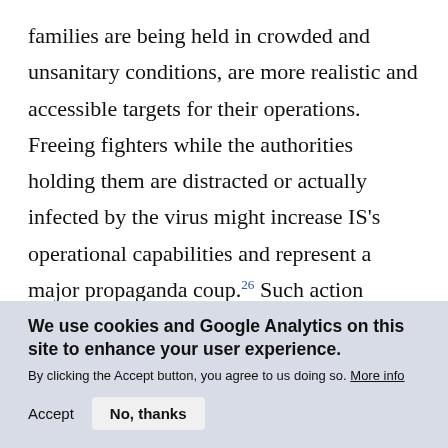families are being held in crowded and unsanitary conditions, are more realistic and accessible targets for their operations. Freeing fighters while the authorities holding them are distracted or actually infected by the virus might increase IS's operational capabilities and represent a major propaganda coup.26 Such action would not be unprecedented; successful operations to free supporters from prisons were
We use cookies and Google Analytics on this site to enhance your user experience. By clicking the Accept button, you agree to us doing so. More info